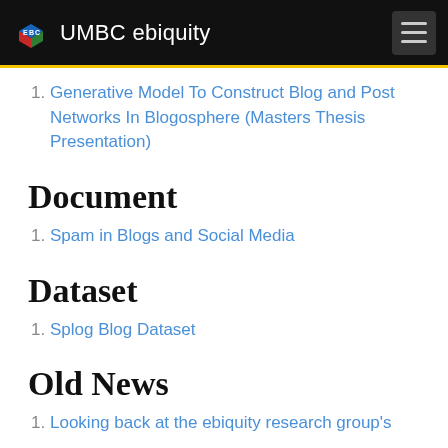UMBC ebiquity
Generative Model To Construct Blog and Post Networks In Blogosphere (Masters Thesis Presentation)
Document
Spam in Blogs and Social Media
Dataset
Splog Blog Dataset
Old News
Looking back at the ebiquity research group's